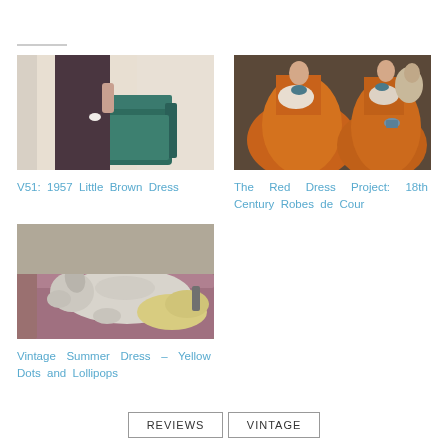[Figure (photo): Person in a dark brown dress standing beside a teal armchair]
V51: 1957 Little Brown Dress
[Figure (photo): 18th century painting showing women in orange robes de cour]
The Red Dress Project: 18th Century Robes de Cour
[Figure (photo): A white dog lying on a mauve sofa with a yellow fabric]
Vintage Summer Dress – Yellow Dots and Lollipops
REVIEWS   VINTAGE